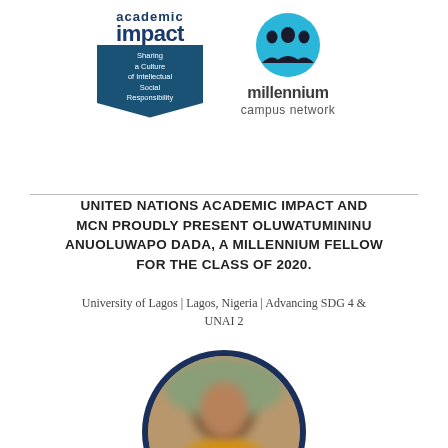[Figure (logo): United Nations Academic Impact logo: text 'academic impact' in dark blue with a dark blue banner reading 'Sharing a Culture of Intellectual Social Responsibility']
[Figure (logo): Millennium Campus Network logo: cyan circle with silhouettes of three people, text 'millennium campus network' below]
UNITED NATIONS ACADEMIC IMPACT AND MCN PROUDLY PRESENT OLUWATUMININU ANUOLUWAPO DADA, A MILLENNIUM FELLOW FOR THE CLASS OF 2020.
University of Lagos | Lagos, Nigeria | Advancing SDG 4 & UNAI 2
[Figure (photo): Circular portrait photo of Oluwatumininu Anuoluwapo Dada with dark navy border, blurred for privacy]